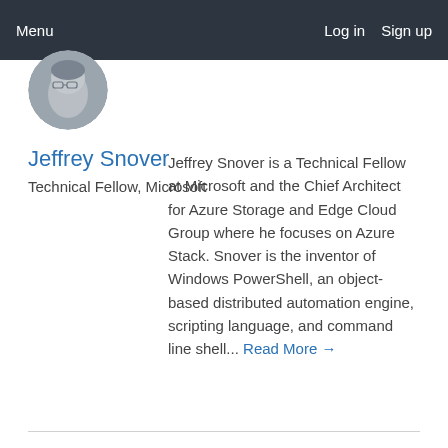Menu   Log in   Sign up
[Figure (photo): Circular profile photo of Jeffrey Snover, partially cropped, showing face and upper shoulders in grayscale.]
Jeffrey Snover
Technical Fellow, Microsoft
Jeffrey Snover is a Technical Fellow at Microsoft and the Chief Architect for Azure Storage and Edge Cloud Group where he focuses on Azure Stack. Snover is the inventor of Windows PowerShell, an object-based distributed automation engine, scripting language, and command line shell... Read More →